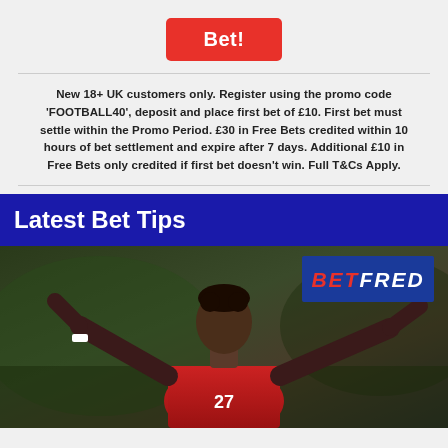Bet!
New 18+ UK customers only. Register using the promo code 'FOOTBALL40', deposit and place first bet of £10. First bet must settle within the Promo Period. £30 in Free Bets credited within 10 hours of bet settlement and expire after 7 days. Additional £10 in Free Bets only credited if first bet doesn't win. Full T&Cs Apply.
Latest Bet Tips
[Figure (photo): Football player in red Austria number 27 shirt celebrating with arms raised, BETFRED logo badge in top right corner]